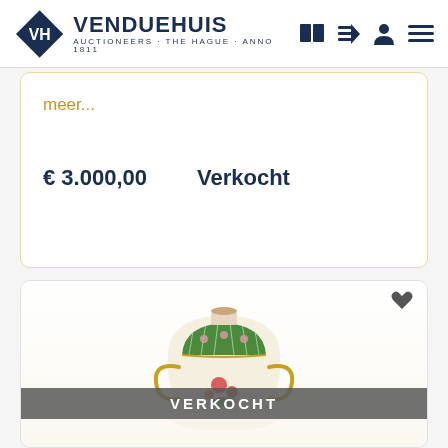[Figure (logo): Venduehuis logo with diamond shape containing VH monogram and text VENDUEHUIS AUCTIONEERS THE HAGUE ANNO 1811, with navigation icons on the right]
meer...
€ 3.000,00   Verkocht
[Figure (photo): Decorative porcelain vase with green lattice-work top, gold handles and floral decoration, sold at auction. VERKOCHT banner overlaid.]